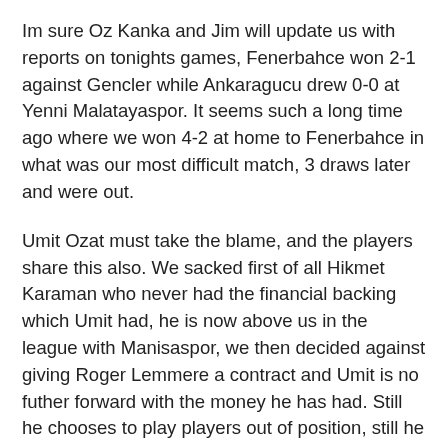Im sure Oz Kanka and Jim will update us with reports on tonights games, Fenerbahce won 2-1 against Gencler while Ankaragucu drew 0-0 at Yenni Malatayaspor. It seems such a long time ago where we won 4-2 at home to Fenerbahce in what was our most difficult match, 3 draws later and were out.
Umit Ozat must take the blame, and the players share this also. We sacked first of all Hikmet Karaman who never had the financial backing which Umit had, he is now above us in the league with Manisaspor, we then decided against giving Roger Lemmere a contract and Umit is no futher forward with the money he has had. Still he chooses to play players out of position, still he hasnt addressed our weak backline, and he cant get away with these poor results any longer.
The decision to play a weakened team at home to Buca has came back to haunt us, and this is Umits decision, i dont know what the team is tonight but whoever was on the park should have been able to beat Yenni. Including our pre season games we have only scored 2 goals in our last 6 games. Not good enough, and to make things even more